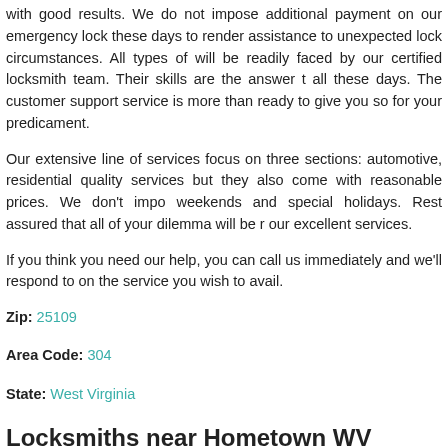with good results. We do not impose additional payment on our emergency lock these days to render assistance to unexpected lock circumstances. All types of will be readily faced by our certified locksmith team. Their skills are the answer all these days. The customer support service is more than ready to give you so for your predicament.
Our extensive line of services focus on three sections: automotive, residential quality services but they also come with reasonable prices. We don't impo weekends and special holidays. Rest assured that all of your dilemma will be r our excellent services.
If you think you need our help, you can call us immediately and we'll respond to on the service you wish to avail.
Zip: 25109
Area Code: 304
State: West Virginia
Locksmiths near Hometown WV
Locksmiths in the 304 area code(same as that of Hometown)
Advent, WV
Alkol, WV